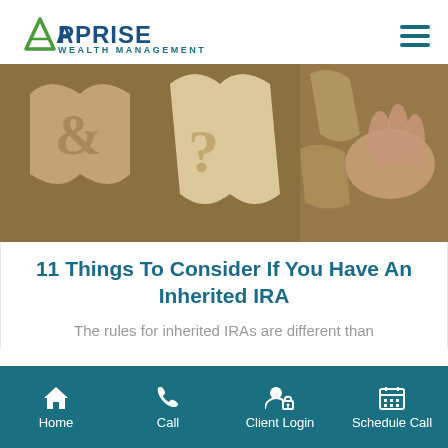[Figure (logo): Apprise Wealth Management logo with green A icon and teal text]
[Figure (photo): Photo of wooden puzzle pieces with question mark shapes, a hand visible on the right side]
11 Things To Consider If You Have An Inherited IRA
The rules for inherited IRAs are different than
Home | Call | Client Login | Schedule Call